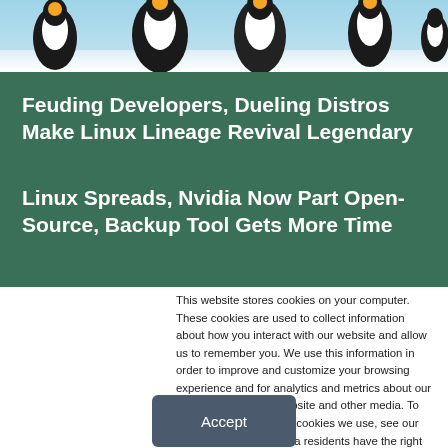[Figure (photo): Penguins photograph at the top of the page showing several penguins against a blue/white background]
Feuding Developers, Dueling Distros Make Linux Lineage Revival Legendary
Linux Spreads, Nvidia Now Part Open-Source, Backup Tool Gets More Time
This website stores cookies on your computer. These cookies are used to collect information about how you interact with our website and allow us to remember you. We use this information in order to improve and customize your browsing experience and for analytics and metrics about our visitors both on this website and other media. To find out more about the cookies we use, see our Privacy Policy. California residents have the right to direct us not to sell their personal information to third parties by filing an Opt-Out Request: Do Not Sell My Personal Info.
Accept